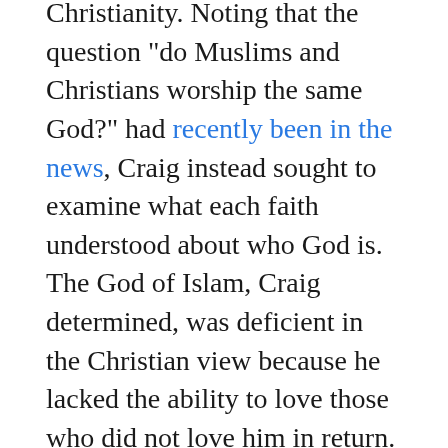Christianity. Noting that the question "do Muslims and Christians worship the same God?" had recently been in the news, Craig instead sought to examine what each faith understood about who God is. The God of Islam, Craig determined, was deficient in the Christian view because he lacked the ability to love those who did not love him in return. Effectively, a God who loves sinners and a God incapable of loving sinners – indeed, even declared their enemy in verses of the Qur'an – were at their core sharply different.
Speakers encouraged participants to be relational in their interactions with Muslims, seeing them not as adversaries in an argument, but as people who might consider Christ by witnessing genuine love in the church.
"We b...